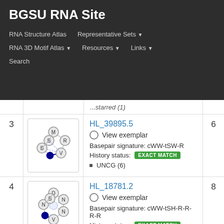BGSU RNA Site
RNA Structure Atlas  Representative Sets ▾  RNA 3D Motif Atlas ▾  Resources ▾  Links ▾  Search
...starred (1)
| # | Image | Details | Count |
| --- | --- | --- | --- |
| 3 | [molecular diagram] | HL_39895.5
View exemplar
Basepair signature: cWW-tSW-R
History status: EXACT MATCH
• UNCG (6) | 6 |
| 4 | [molecular diagram] | HL_18781.2
View exemplar
Basepair signature: cWW-tSH-R-R-R-R
History status: EXACT MATCH | 8 |